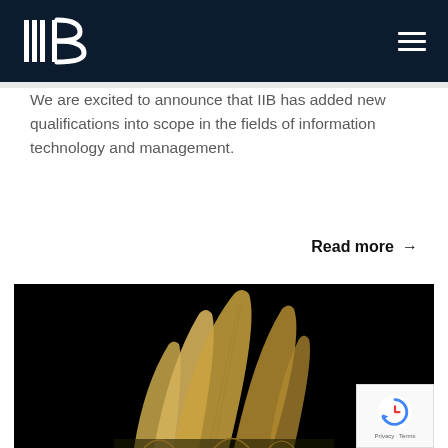IIB
We are excited to announce that IIB has added new qualifications into scope in the fields of information technology and management.
Read more →
[Figure (photo): Nighttime photo of the Sydney Opera House with colourful illuminated sails, displayed against a dark black background, partially visible at the bottom of the page.]